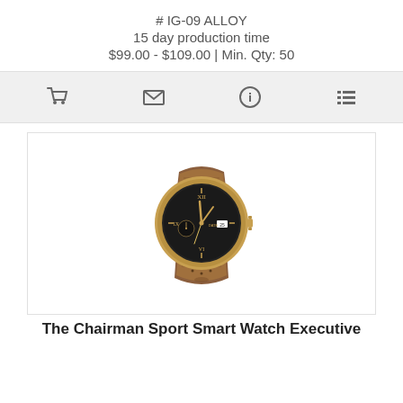# IG-09 ALLOY
15 day production time
$99.00 - $109.00 | Min. Qty: 50
[Figure (infographic): Icon bar with four icons: shopping cart, envelope/email, info circle, and list/menu]
[Figure (photo): A smartwatch with a round black dial, gold-tone case with roman numerals, and brown leather strap. The watch face shows time with gold hands and a sub-dial. Model is the Chairman Sport Smart Watch Executive.]
The Chairman Sport Smart Watch Executive